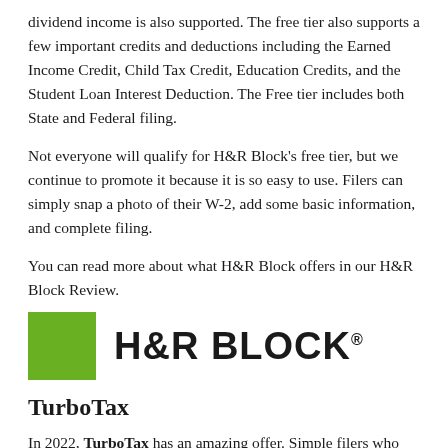dividend income is also supported. The free tier also supports a few important credits and deductions including the Earned Income Credit, Child Tax Credit, Education Credits, and the Student Loan Interest Deduction. The Free tier includes both State and Federal filing.
Not everyone will qualify for H&R Block's free tier, but we continue to promote it because it is so easy to use. Filers can simply snap a photo of their W-2, add some basic information, and complete filing.
You can read more about what H&R Block offers in our H&R Block Review.
[Figure (logo): H&R Block logo: green square on left, bold H&R BLOCK text on right]
TurboTax
In 2022, TurboTax has an amazing offer. Simple filers who have their documents ready by February 15th can have an enrolled agent file taxes on their behalf. Those who complete their returns by March 31st can have an Enrolled